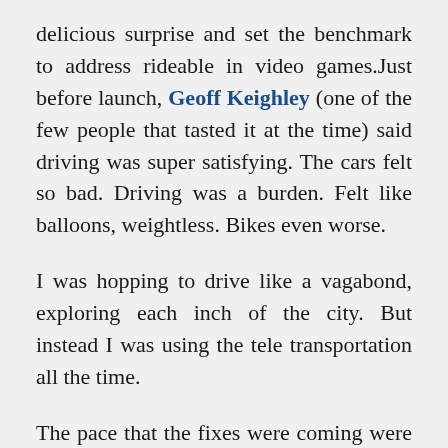delicious surprise and set the benchmark to address rideable in video games. Just before launch, Geoff Keighley (one of the few people that tasted it at the time) said driving was super satisfying. The cars felt so bad. Driving was a burden. Felt like balloons, weightless. Bikes even worse.
I was hopping to drive like a vagabond, exploring each inch of the city. But instead I was using the tele transportation all the time.
The pace that the fixes were coming were also much desirable. I finished the game in 3 months, but a small number of patches were released back them. CDPR always had a top-in-industry attitude